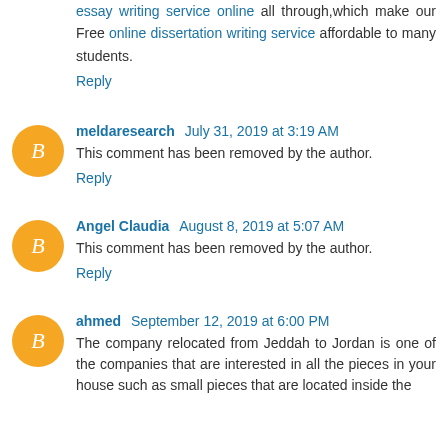essay writing service online all through,which make our Free online dissertation writing service affordable to many students.
Reply
meldaresearch July 31, 2019 at 3:19 AM
This comment has been removed by the author.
Reply
Angel Claudia August 8, 2019 at 5:07 AM
This comment has been removed by the author.
Reply
ahmed September 12, 2019 at 6:00 PM
The company relocated from Jeddah to Jordan is one of the companies that are interested in all the pieces in your house such as small pieces that are located inside the